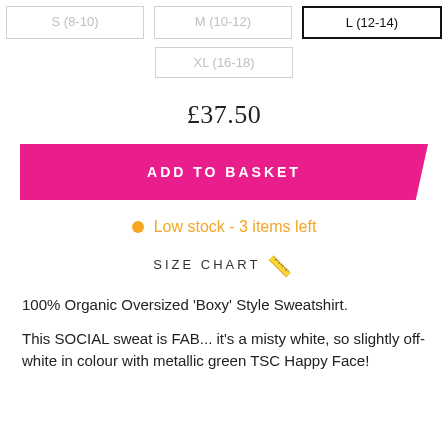S (8-10)  M (10-12)  L (12-14)  XL (16-18)
£37.50
ADD TO BASKET
Low stock - 3 items left
SIZE CHART 📏
100% Organic Oversized 'Boxy' Style Sweatshirt.
This SOCIAL sweat is FAB... it's a misty white, so slightly off-white in colour with metallic green TSC Happy Face!